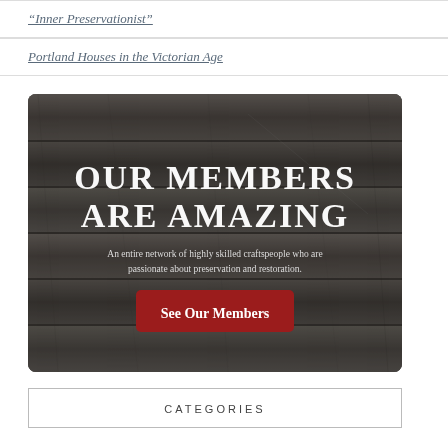“Inner Preservationist”
Portland Houses in the Victorian Age
[Figure (illustration): Banner image with wood plank background. Large white text reads 'OUR MEMBERS ARE AMAZING'. Subtitle: 'An entire network of highly skilled craftspeople who are passionate about preservation and restoration.' A red button reads 'See Our Members'.]
CATEGORIES